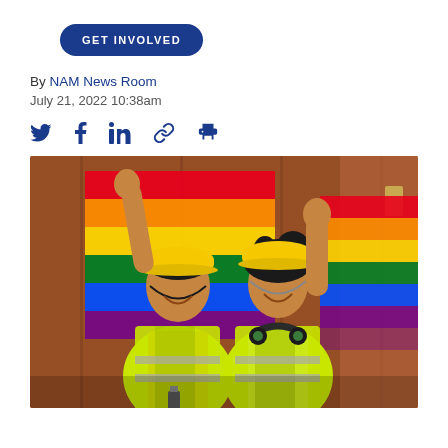GET INVOLVED
By NAM News Room
July 21, 2022 10:38am
[Figure (other): Social media sharing icons: Twitter bird, Facebook f, LinkedIn in, link/chain icon, print icon — all in dark navy blue]
[Figure (photo): Two women wearing yellow hard hats and hi-vis yellow safety vests smiling and holding up a rainbow pride flag behind them. They are standing in front of a red/brown shipping container. One woman wears an orange shirt and the other wears a white shirt with green headphones around her neck.]